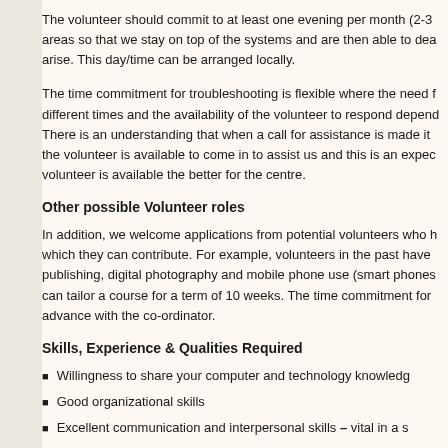The volunteer should commit to at least one evening per month (2-3 areas so that we stay on top of the systems and are then able to dea arise. This day/time can be arranged locally.
The time commitment for troubleshooting is flexible where the need f different times and the availability of the volunteer to respond depend There is an understanding that when a call for assistance is made it the volunteer is available to come in to assist us and this is an expec volunteer is available the better for the centre.
Other possible Volunteer roles
In addition, we welcome applications from potential volunteers who h which they can contribute. For example, volunteers in the past have publishing, digital photography and mobile phone use (smart phones can tailor a course for a term of 10 weeks. The time commitment for advance with the co-ordinator.
Skills, Experience & Qualities Required
Willingness to share your computer and technology knowledg
Good organizational skills
Excellent communication and interpersonal skills – vital in a s